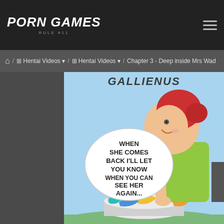PORN GAMES RULE #1
Home / Hentai Videos / Hentai Videos / Chapter 3 - Deep inside Mrs Wad
[Figure (illustration): Comic illustration by GALLIENUS showing a red-haired woman leaning over a laundry basket with colorful clothes. She has a speech bubble saying: WHEN SHE COMES BACK I'LL LET YOU KNOW WHEN YOU CAN SEE HER AGAIN...]